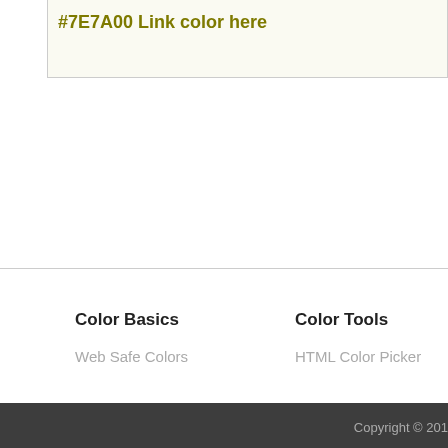#7E7A00 Link color here
Color Basics
Web Safe Colors
Color Tools
HTML Color Picker
Copyright © 201…